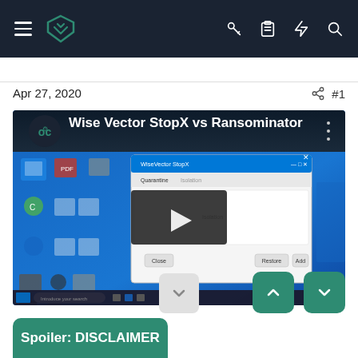Wise Vector StopX — navigation bar with hamburger menu, logo, key icon, clipboard icon, lightning icon, search icon
Apr 27, 2020
#1
[Figure (screenshot): YouTube video thumbnail showing 'Wise Vector StopX vs Ransominator' with a Windows desktop screenshot and play button overlay]
Spoiler: DISCLAIMER